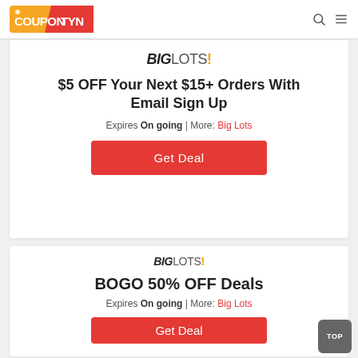CouponTyn
[Figure (logo): Big Lots logo - BIG in bold italic dark text, LOTS in regular weight, exclamation mark in amber/gold]
$5 OFF Your Next $15+ Orders With Email Sign Up
Expires On going | More: Big Lots
Get Deal
[Figure (logo): Big Lots logo - BIG in bold italic dark text, LOTS in regular weight, exclamation mark in amber/gold]
BOGO 50% OFF Deals
Expires On going | More: Big Lots
Get Deal